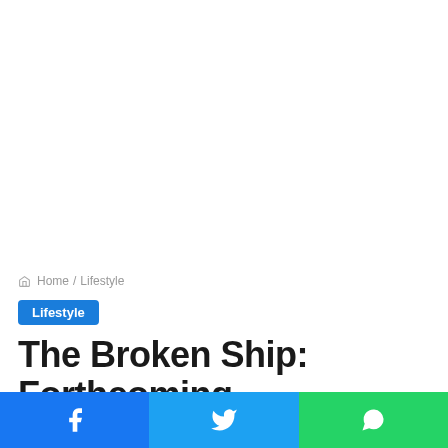[Figure (other): Advertisement / blank white area at top of page]
Home / Lifestyle
Lifestyle
The Broken Ship: Forthcoming Masterpiece